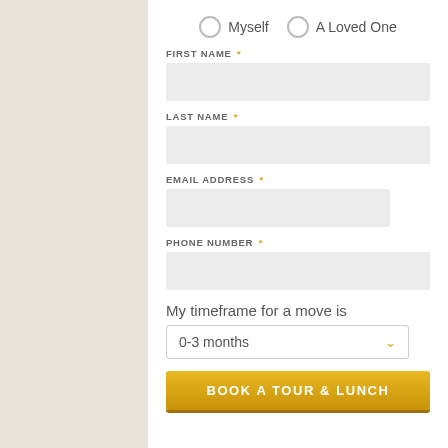Myself   A Loved One
FIRST NAME *
LAST NAME *
EMAIL ADDRESS *
PHONE NUMBER *
My timeframe for a move is
0-3 months
BOOK A TOUR & LUNCH